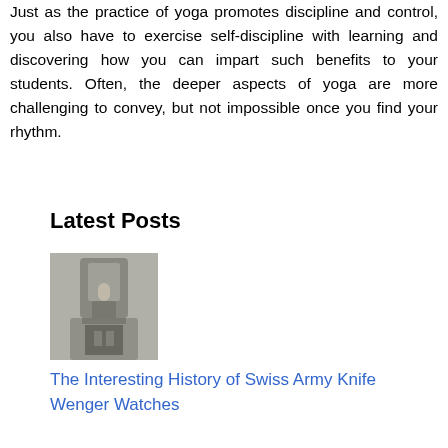Just as the practice of yoga promotes discipline and control, you also have to exercise self-discipline with learning and discovering how you can impart such benefits to your students. Often, the deeper aspects of yoga are more challenging to convey, but not impossible once you find your rhythm.
Latest Posts
[Figure (photo): A person wearing a gray shirt, partially cropped, standing near a railing or similar structure.]
The Interesting History of Swiss Army Knife Wenger Watches